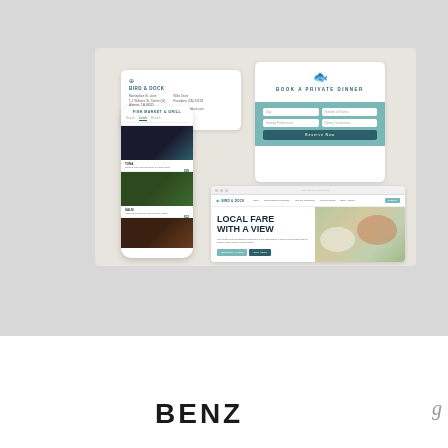[Figure (screenshot): Restaurant branding mockup showing: a business card for a restaurant with logo and contact information, a reservation booking card with teal accent, a mobile app UI showing food items with photos, and a website hero section with 'LOCAL FARE WITH A VIEW' headline and food photography]
BENZ